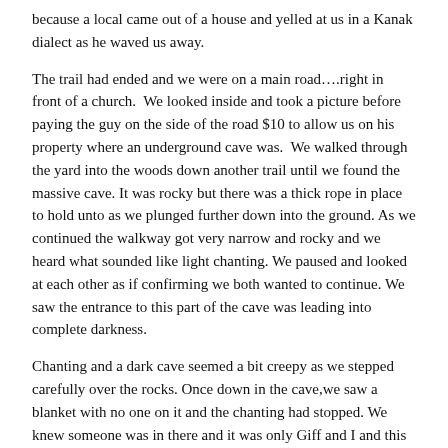because a local came out of a house and yelled at us in a Kanak dialect as he waved us away.
The trail had ended and we were on a main road....right in front of a church. We looked inside and took a picture before paying the guy on the side of the road $10 to allow us on his property where an underground cave was. We walked through the yard into the woods down another trail until we found the massive cave. It was rocky but there was a thick rope in place to hold unto as we plunged further down into the ground. As we continued the walkway got very narrow and rocky and we heard what sounded like light chanting. We paused and looked at each other as if confirming we both wanted to continue. We saw the entrance to this part of the cave was leading into complete darkness.
Chanting and a dark cave seemed a bit creepy as we stepped carefully over the rocks. Once down in the cave,we saw a blanket with no one on it and the chanting had stopped. We knew someone was in there and it was only Giff and I and this mystery chanter. Giff yelled bonjour and turned his phone on to get a little light in the pitch dark which barely helped.
We heard movement and looked to the left to see a big local man say something to us in not our language. He gave us a big flashlight and then jumped in water. We turned the light towards where he was and saw there was a deep clear body of water there. He got out and came towards us...we thought he was going to push us in...he was friendly but at the same time it was a little un-nerving. After only a few more minutes we decided to head back out...we thanked him, gave back the flashlight and went back to the